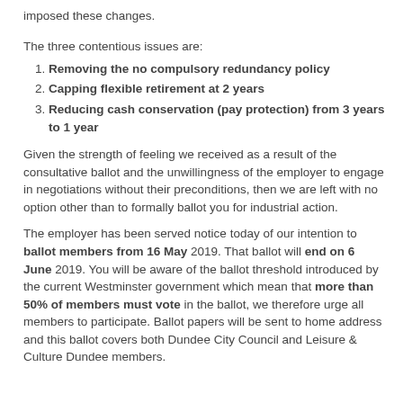imposed these changes.
The three contentious issues are:
Removing the no compulsory redundancy policy
Capping flexible retirement at 2 years
Reducing cash conservation (pay protection) from 3 years to 1 year
Given the strength of feeling we received as a result of the consultative ballot and the unwillingness of the employer to engage in negotiations without their preconditions, then we are left with no option other than to formally ballot you for industrial action.
The employer has been served notice today of our intention to ballot members from 16 May 2019. That ballot will end on 6 June 2019. You will be aware of the ballot threshold introduced by the current Westminster government which mean that more than 50% of members must vote in the ballot, we therefore urge all members to participate. Ballot papers will be sent to home address and this ballot covers both Dundee City Council and Leisure & Culture Dundee members.